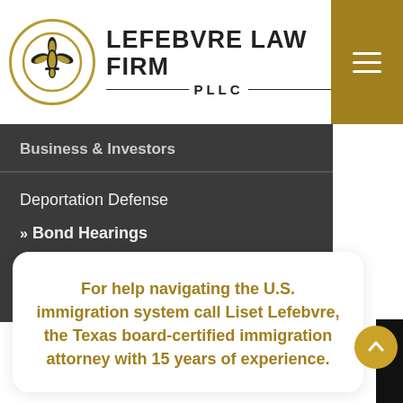LEFEBVRE LAW FIRM PLLC
Business & Investors
Deportation Defense
>> Bond Hearings
For help navigating the U.S. immigration system call Liset Lefebvre, the Texas board-certified immigration attorney with 15 years of experience.